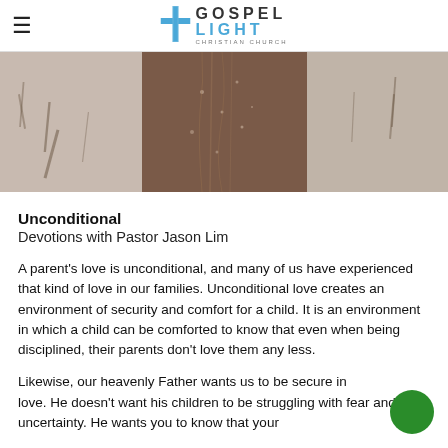Gospel Light Christian Church
[Figure (photo): Sepia-toned close-up image of what appears to be a plant or natural fibrous material, split into three panels: lighter left, dark center, lighter right]
Unconditional
Devotions with Pastor Jason Lim
A parent's love is unconditional, and many of us have experienced that kind of love in our families. Unconditional love creates an environment of security and comfort for a child. It is an environment in which a child can be comforted to know that even when being disciplined, their parents don't love them any less.
Likewise, our heavenly Father wants us to be secure in his love. He doesn't want his children to be struggling with fear and uncertainty. He wants you to know that your